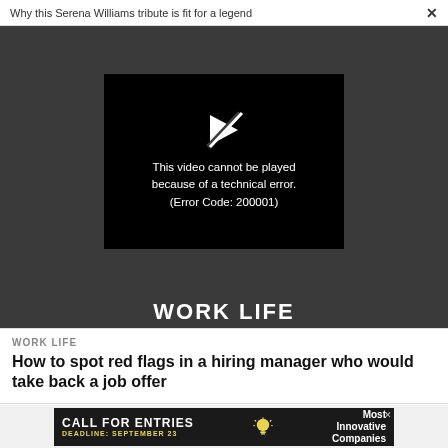Why this Serena Williams tribute is fit for a legend   ×
[Figure (screenshot): Video player error screen on dark gray background. Black video player box shows a broken play button icon (arrow with slash through it) and white text reading: This video cannot be played because of a technical error. (Error Code: 200001)]
WORK LIFE
WORK LIFE
How to spot red flags in a hiring manager who would take back a job offer
[Figure (other): Advertisement banner with dark background. Text reads: CALL FOR ENTRIES, DEADLINE: SEPTEMBER 23, lightbulb icon, Most Innovative Companies. Small X close button in top right.]